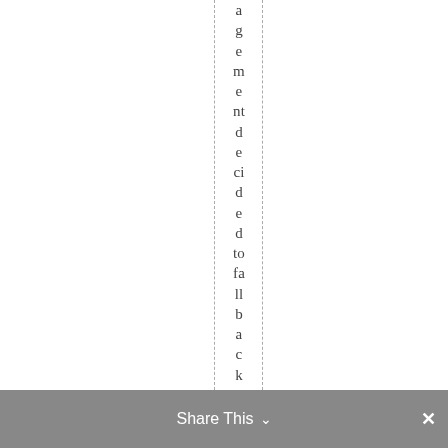agreement decided to fall back to a paper m
Share This ∨  ✕